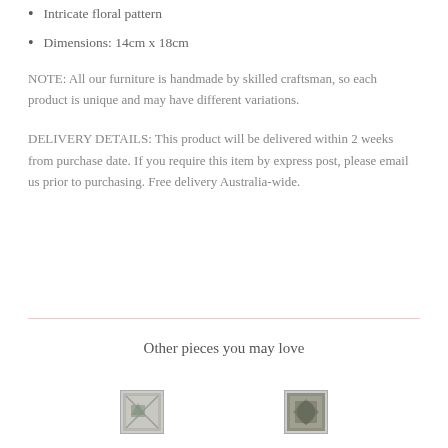Intricate floral pattern
Dimensions: 14cm x 18cm
NOTE: All our furniture is handmade by skilled craftsman, so each product is unique and may have different variations.
DELIVERY DETAILS: This product will be delivered within 2 weeks from purchase date. If you require this item by express post, please email us prior to purchasing. Free delivery Australia-wide.
Other pieces you may love
[Figure (photo): Thumbnail image of a product, left side]
[Figure (photo): Thumbnail image of a product, right side]